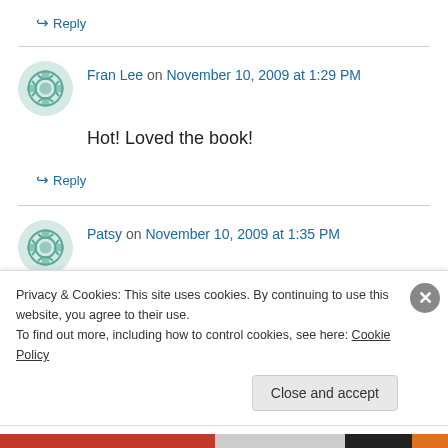↪ Reply
Fran Lee on November 10, 2009 at 1:29 PM
Hot! Loved the book!
↪ Reply
Patsy on November 10, 2009 at 1:35 PM
Her Three-way Merger…hot. Did I say Hot? Oh my. I have got to get that book! Great interview…
Privacy & Cookies: This site uses cookies. By continuing to use this website, you agree to their use.
To find out more, including how to control cookies, see here: Cookie Policy
Close and accept